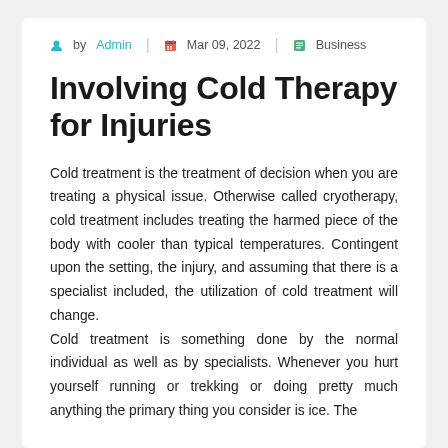by Admin | Mar 09, 2022 | Business
Involving Cold Therapy for Injuries
Cold treatment is the treatment of decision when you are treating a physical issue. Otherwise called cryotherapy, cold treatment includes treating the harmed piece of the body with cooler than typical temperatures. Contingent upon the setting, the injury, and assuming that there is a specialist included, the utilization of cold treatment will change.
Cold treatment is something done by the normal individual as well as by specialists. Whenever you hurt yourself running or trekking or doing pretty much anything the primary thing you consider is ice. The